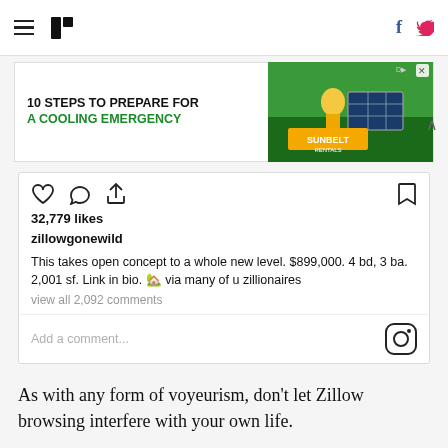HuffPost navigation with hamburger menu, HuffPost logo, Facebook and Twitter icons
[Figure (screenshot): Advertisement banner: '10 STEPS TO PREPARE FOR A COOLING EMERGENCY' with Sunbelt Rentals branding and image of workers with solar panels]
[Figure (screenshot): Instagram post screenshot from zillowgonewild. 32,779 likes. Caption: 'This takes open concept to a whole new level. $899,000. 4 bd, 3 ba. 2,001 sf. Link in bio. via many of u zillionaires'. view all 2,092 comments. Add a comment... Instagram logo.]
As with any form of voyeurism, don't let Zillow browsing interfere with your own life.